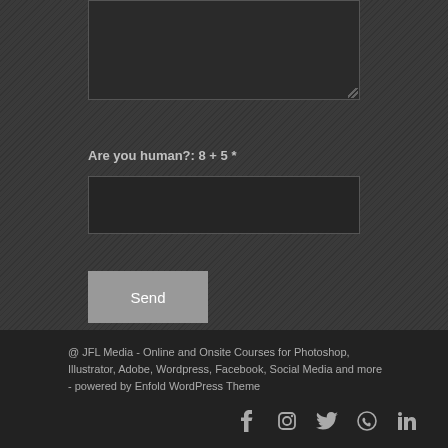Are you human?: 8 + 5 *
Send
@ JFL Media - Online and Onsite Courses for Photoshop, Illustrator, Adobe, Wordpress, Facebook, Social Media and more - powered by Enfold WordPress Theme